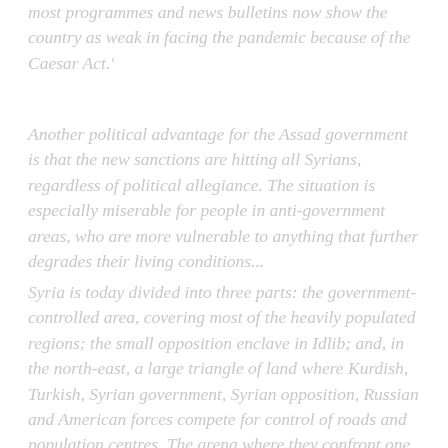most programmes and news bulletins now show the country as weak in facing the pandemic because of the Caesar Act.'
Another political advantage for the Assad government is that the new sanctions are hitting all Syrians, regardless of political allegiance. The situation is especially miserable for people in anti-government areas, who are more vulnerable to anything that further degrades their living conditions...
Syria is today divided into three parts: the government-controlled area, covering most of the heavily populated regions; the small opposition enclave in Idlib; and, in the north-east, a large triangle of land where Kurdish, Turkish, Syrian government, Syrian opposition, Russian and American forces compete for control of roads and population centres. The arena where they confront one another is a plain east of the Euphrates River, with Turkey